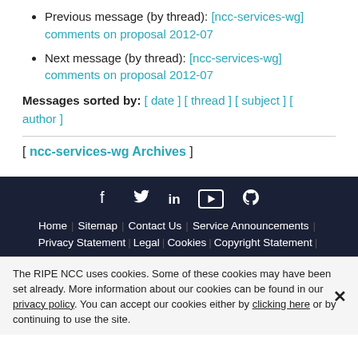Previous message (by thread): [ncc-services-wg] comments on proposal 2012-07
Next message (by thread): [ncc-services-wg] comments on proposal 2012-07
Messages sorted by: [ date ] [ thread ] [ subject ] [ author ]
[ ncc-services-wg Archives ]
Home | Sitemap | Contact Us | Service Announcements | Privacy Statement | Legal | Cookies | Copyright Statement
The RIPE NCC uses cookies. Some of these cookies may have been set already. More information about our cookies can be found in our privacy policy. You can accept our cookies either by clicking here or by continuing to use the site.